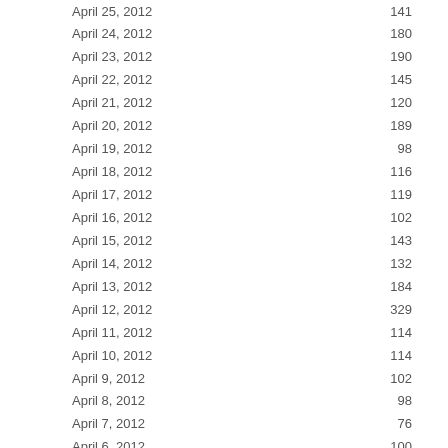| Date | Value |
| --- | --- |
| April 25, 2012 | 141 |
| April 24, 2012 | 180 |
| April 23, 2012 | 190 |
| April 22, 2012 | 145 |
| April 21, 2012 | 120 |
| April 20, 2012 | 189 |
| April 19, 2012 | 98 |
| April 18, 2012 | 116 |
| April 17, 2012 | 119 |
| April 16, 2012 | 102 |
| April 15, 2012 | 143 |
| April 14, 2012 | 132 |
| April 13, 2012 | 184 |
| April 12, 2012 | 329 |
| April 11, 2012 | 114 |
| April 10, 2012 | 114 |
| April 9, 2012 | 102 |
| April 8, 2012 | 98 |
| April 7, 2012 | 76 |
| April 6, 2012 | 100 |
| April 5, 2012 | 155 |
| April 4, 2012 | 131 |
| April 3, 2012 | 108 |